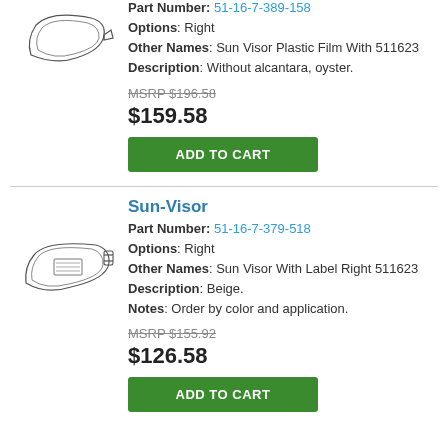[Figure (illustration): Line drawing of a sun visor plastic film part, top-right orientation]
Part Number: 51-16-7-389-158
Options: Right
Other Names: Sun Visor Plastic Film With 511623
Description: Without alcantara, oyster.
MSRP $196.58
$159.58
ADD TO CART
Sun-Visor
Part Number: 51-16-7-379-518
[Figure (illustration): Line drawing of a sun visor part facing right with clip]
Options: Right
Other Names: Sun Visor With Label Right 511623
Description: Beige.
Notes: Order by color and application.
MSRP $155.92
$126.58
ADD TO CART